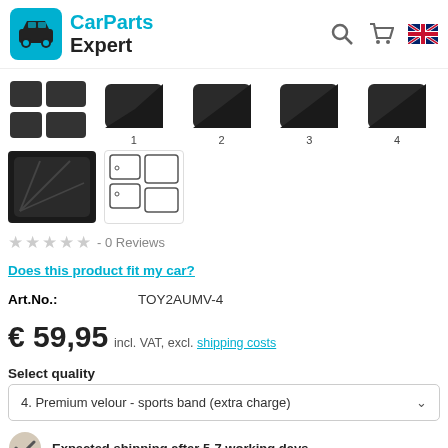[Figure (logo): CarParts Expert logo with teal car icon and brand name]
[Figure (photo): Product thumbnail images of car floor mats numbered 1-4 plus main view]
[Figure (photo): Close-up photo of black car mat and line diagram of mat set]
★★★★★ - 0 Reviews
Does this product fit my car?
Art.No.:   TOY2AUMV-4
€ 59,95 incl. VAT, excl. shipping costs
Select quality
4. Premium velour - sports band (extra charge)
Expected shipping after 5-7 working days